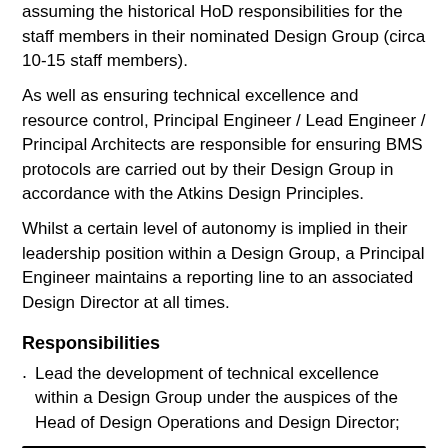assuming the historical HoD responsibilities for the staff members in their nominated Design Group (circa 10-15 staff members).
As well as ensuring technical excellence and resource control, Principal Engineer / Lead Engineer / Principal Architects are responsible for ensuring BMS protocols are carried out by their Design Group in accordance with the Atkins Design Principles.
Whilst a certain level of autonomy is implied in their leadership position within a Design Group, a Principal Engineer maintains a reporting line to an associated Design Director at all times.
Responsibilities
Lead the development of technical excellence within a Design Group under the auspices of the Head of Design Operations and Design Director;
[Figure (other): Black Apply button]
Take responsibility for commercial management and